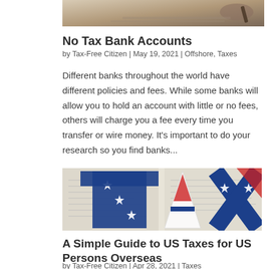[Figure (photo): Top portion of a photo showing hands signing a document, cropped at top of page]
No Tax Bank Accounts
by Tax-Free Citizen | May 19, 2021 | Offshore, Taxes
Different banks throughout the world have different policies and fees. While some banks will allow you to hold an account with little or no fees, others will charge you a fee every time you transfer or wire money.  It's important to do your research so you find banks...
[Figure (photo): Tax-themed image showing the word TAX cut out in American flag style against a background of tax documents]
A Simple Guide to US Taxes for US Persons Overseas
by Tax-Free Citizen | Apr 28, 2021 | Taxes